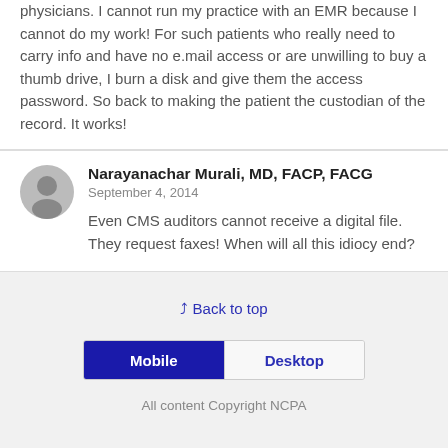physicians. I cannot run my practice with an EMR because I cannot do my work! For such patients who really need to carry info and have no e.mail access or are unwilling to buy a thumb drive, I burn a disk and give them the access password. So back to making the patient the custodian of the record. It works!
Narayanachar Murali, MD, FACP, FACG
September 4, 2014
Even CMS auditors cannot receive a digital file. They request faxes! When will all this idiocy end?
Back to top
Mobile   Desktop
All content Copyright NCPA